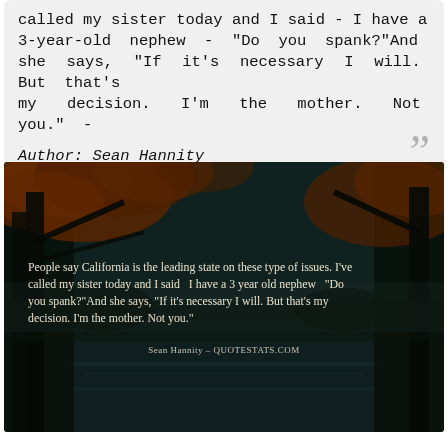called my sister today and I said - I have a 3-year-old nephew - "Do you spank?"And she says, "If it's necessary I will. But that's my decision. I'm the mother. Not you." - Author: Sean Hannity
[Figure (photo): Autumn forest scene with lake and orange foliage, overlaid with quote text: 'People say California is the leading state on these type of issues. I've called my sister today and I said I have a 3 year old nephew "Do you spank?"And she says, "If it's necessary I will. But that's my decision. I'm the mother. Not you."' Attribution: Sean Hannity - QUOTESTATS.COM]